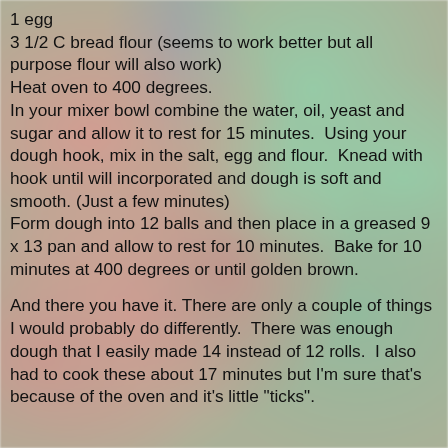1 egg
3 1/2 C bread flour (seems to work better but all purpose flour will also work)
Heat oven to 400 degrees.
In your mixer bowl combine the water, oil, yeast and sugar and allow it to rest for 15 minutes.  Using your dough hook, mix in the salt, egg and flour.  Knead with hook until will incorporated and dough is soft and smooth. (Just a few minutes)
Form dough into 12 balls and then place in a greased 9 x 13 pan and allow to rest for 10 minutes.  Bake for 10 minutes at 400 degrees or until golden brown.
And there you have it. There are only a couple of things I would probably do differently.  There was enough dough that I easily made 14 instead of 12 rolls.  I also had to cook these about 17 minutes but I'm sure that's because of the oven and it's little "ticks".